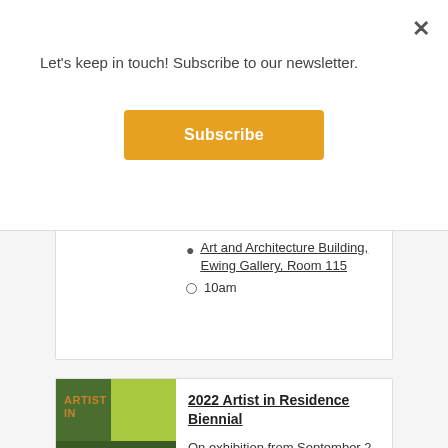Let's keep in touch! Subscribe to our newsletter.
Subscribe
×
Art and Architecture Building, Ewing Gallery, Room 115
10am
2022 Artist in Residence Biennial
On exhibition from September 2 - October 15, the 2022 AIR Biennial will...